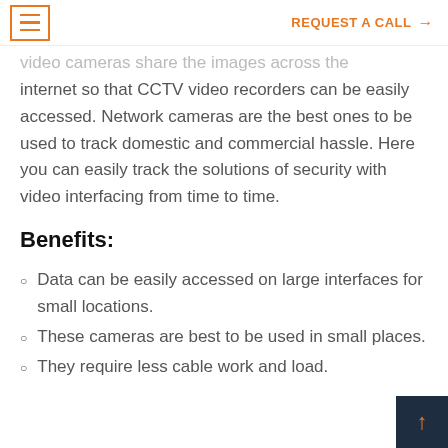REQUEST A CALL →
video cameras share the images across the internet so that CCTV video recorders can be easily accessed. Network cameras are the best ones to be used to track domestic and commercial hassle. Here you can easily track the solutions of security with video interfacing from time to time.
Benefits:
Data can be easily accessed on large interfaces for small locations.
These cameras are best to be used in small places.
They require less cable work and load.